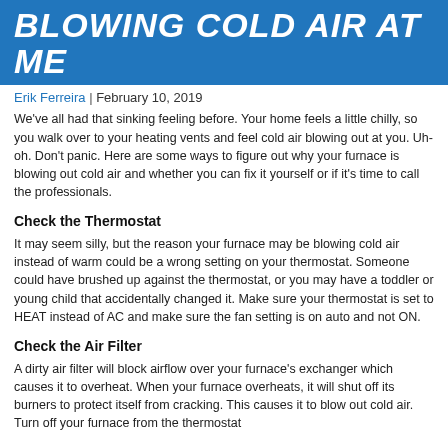BLOWING COLD AIR AT ME
Erik Ferreira | February 10, 2019
We've all had that sinking feeling before. Your home feels a little chilly, so you walk over to your heating vents and feel cold air blowing out at you. Uh-oh. Don't panic. Here are some ways to figure out why your furnace is blowing out cold air and whether you can fix it yourself or if it's time to call the professionals.
Check the Thermostat
It may seem silly, but the reason your furnace may be blowing cold air instead of warm could be a wrong setting on your thermostat. Someone could have brushed up against the thermostat, or you may have a toddler or young child that accidentally changed it. Make sure your thermostat is set to HEAT instead of AC and make sure the fan setting is on auto and not ON.
Check the Air Filter
A dirty air filter will block airflow over your furnace's exchanger which causes it to overheat. When your furnace overheats, it will shut off its burners to protect itself from cracking. This causes it to blow out cold air. Turn off your furnace from the thermostat...